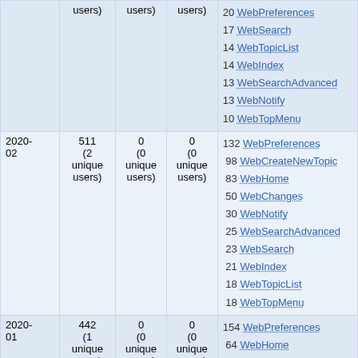|  | users) | users) | users) | 20 WebPreferences
17 WebSearch
14 WebTopicList
14 WebIndex
13 WebSearchAdvanced
13 WebNotify
10 WebTopMenu |
| 2020-02 | 511
(2 unique
users) | 0
(0 unique
users) | 0
(0 unique
users) | 132 WebPreferences
98 WebCreateNewTopic
83 WebHome
50 WebChanges
30 WebNotify
25 WebSearchAdvanced
23 WebSearch
21 WebIndex
18 WebTopicList
18 WebTopMenu |
| 2020-01 | 442
(1 unique
users) | 0
(0 unique
users) | 0
(0 unique
users) | 154 WebPreferences
64 WebHome
57 WebCreateNewTopic
46 WebChanges |